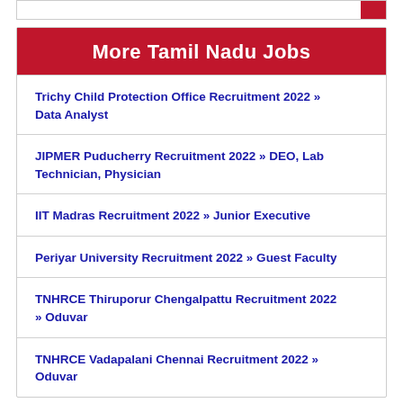More Tamil Nadu Jobs
Trichy Child Protection Office Recruitment 2022 » Data Analyst
JIPMER Puducherry Recruitment 2022 » DEO, Lab Technician, Physician
IIT Madras Recruitment 2022 » Junior Executive
Periyar University Recruitment 2022 » Guest Faculty
TNHRCE Thiruporur Chengalpattu Recruitment 2022 » Oduvar
TNHRCE Vadapalani Chennai Recruitment 2022 » Oduvar